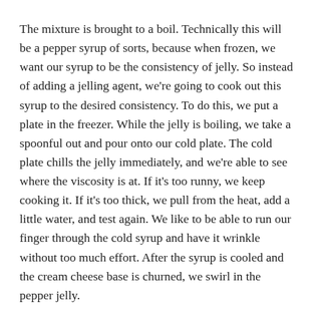The mixture is brought to a boil. Technically this will be a pepper syrup of sorts, because when frozen, we want our syrup to be the consistency of jelly. So instead of adding a jelling agent, we're going to cook out this syrup to the desired consistency. To do this, we put a plate in the freezer. While the jelly is boiling, we take a spoonful out and pour onto our cold plate. The cold plate chills the jelly immediately, and we're able to see where the viscosity is at. If it's too runny, we keep cooking it. If it's too thick, we pull from the heat, add a little water, and test again. We like to be able to run our finger through the cold syrup and have it wrinkle without too much effort. After the syrup is cooled and the cream cheese base is churned, we swirl in the pepper jelly.